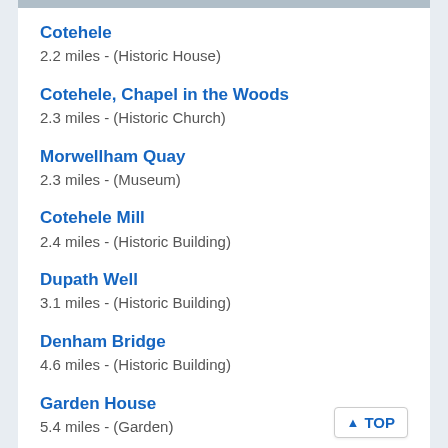Cotehele
2.2 miles - (Historic House)
Cotehele, Chapel in the Woods
2.3 miles - (Historic Church)
Morwellham Quay
2.3 miles - (Museum)
Cotehele Mill
2.4 miles - (Historic Building)
Dupath Well
3.1 miles - (Historic Building)
Denham Bridge
4.6 miles - (Historic Building)
Garden House
5.4 miles - (Garden)